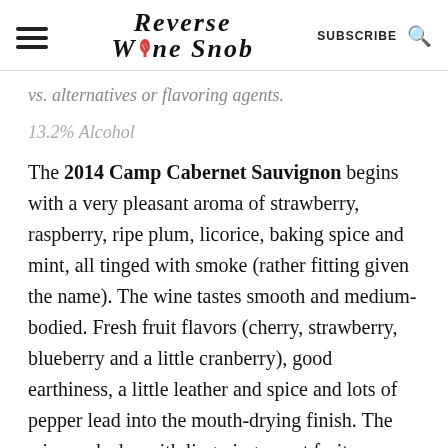Reverse Wine Snob | SUBSCRIBE
vs. alternatives or flavoring agents.
13.2% Alcohol
The 2014 Camp Cabernet Sauvignon begins with a very pleasant aroma of strawberry, raspberry, ripe plum, licorice, baking spice and mint, all tinged with smoke (rather fitting given the name). The wine tastes smooth and medium-bodied. Fresh fruit flavors (cherry, strawberry, blueberry and a little cranberry), good earthiness, a little leather and spice and lots of pepper lead into the mouth-drying finish. The wine ends dry with lingering sweet fruit, pepper and perhaps a